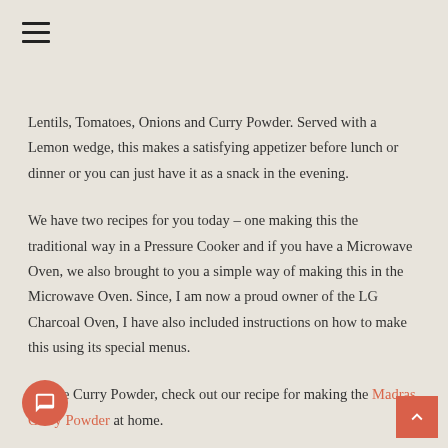[Figure (other): Hamburger menu icon (three horizontal lines)]
Lentils, Tomatoes, Onions and Curry Powder. Served with a Lemon wedge, this makes a satisfying appetizer before lunch or dinner or you can just have it as a snack in the evening.
We have two recipes for you today – one making this the traditional way in a Pressure Cooker and if you have a Microwave Oven, we also brought to you a simple way of making this in the Microwave Oven. Since, I am now a proud owner of the LG Charcoal Oven, I have also included instructions on how to make this using its special menus.
For the Curry Powder, check out our recipe for making the Madras Curry Powder at home.